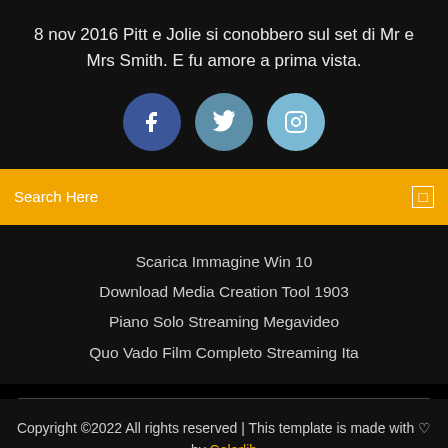8 nov 2016 Pitt e Jolie si conobbero sul set di Mr e Mrs Smith. E fu amore a prima vista.
[Figure (illustration): Three social media icons: Facebook (dark blue circle with f), Twitter (medium blue circle with bird), Instagram (light blue circle with camera outline)]
Search Here
Scarica Immagine Win 10
Download Media Creation Tool 1903
Piano Solo Streaming Megavideo
Quo Vado Film Completo Streaming Ita
Copyright ©2022 All rights reserved | This template is made with ♡ by Colorlib